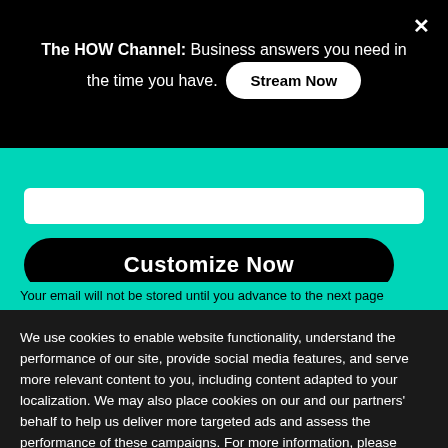The HOW Channel: Business answers you need in the time you have.
Stream Now
Customize Now
Your email will not be stored until you advance to the next page
We use cookies to enable website functionality, understand the performance of our site, provide social media features, and serve more relevant content to you, including content adapted to your localization. We may also place cookies on our and our partners' behalf to help us deliver more targeted ads and assess the performance of these campaigns. For more information, please review our Privacy Policy and  Cookies Policy.
Cookies Settings
Accept All Cookies